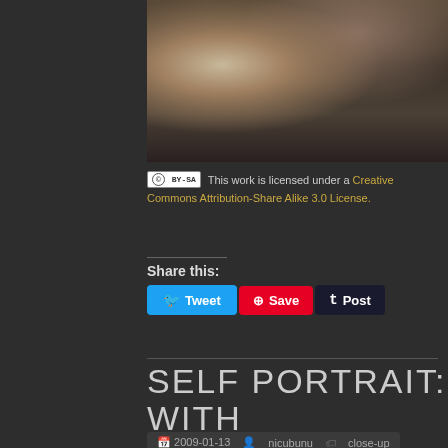[Figure (photo): Partial self-portrait photo showing a person's torso in a dark shirt, cropped at top]
This work is licensed under a Creative Commons Attribution-Share Alike 3.0 License.
Share this:
Tweet  Save  Post
SELF PORTRAIT: WITH TOYS
2009-01-13  nicubunu  close-up